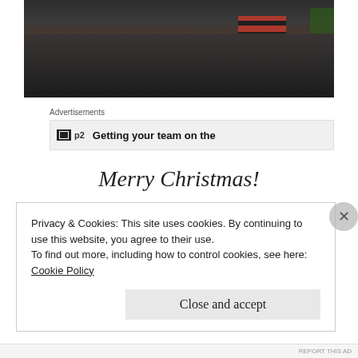[Figure (photo): Cropped photo showing the lower bodies and legs of a group of people standing outdoors. One person wears a red and black striped top. Background shows paving stones and some greenery.]
Advertisements
[Figure (other): Advertisement banner with small icon and text: Getting your team on the]
Merry Christmas!
Privacy & Cookies: This site uses cookies. By continuing to use this website, you agree to their use.
To find out more, including how to control cookies, see here:
Cookie Policy
Close and accept